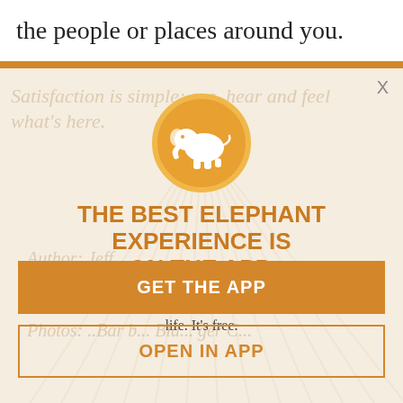the people or places around you.
[Figure (screenshot): App promotion modal overlay on a light beige background with diagonal rays, showing an orange elephant circle icon, headline text, description, and two call-to-action buttons.]
THE BEST ELEPHANT EXPERIENCE IS ON THE APP.
Enjoy a daily moment of mindfulness in the midst of this busy life. It's free.
GET THE APP
OPEN IN APP